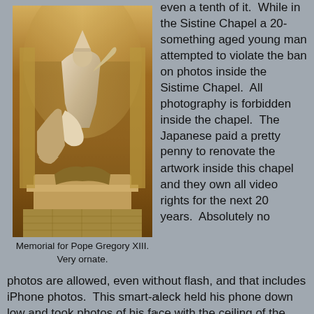[Figure (photo): Photograph of the Memorial for Pope Gregory XIII inside St. Peter's Basilica, Vatican. Ornate marble sculpture with a figure of the Pope seated above flanked by allegorical figures.]
Memorial for Pope Gregory XIII. Very ornate.
even a tenth of it. While in the Sistine Chapel a 20-something aged young man attempted to violate the ban on photos inside the Sistime Chapel. All photography is forbidden inside the chapel. The Japanese paid a pretty penny to renovate the artwork inside this chapel and they own all video rights for the next 20 years. Absolutely no photos are allowed, even without flash, and that includes iPhone photos. This smart-aleck held his phone down low and took photos of his face with the ceiling of the Sistine Chapel in the background. And the guards (along with the surveillance video cameras) noticed that this guy was taking the photos. This young man was part of a group tour and th
photos are allowed, even without flash, and that includes iPhone photos. This smart-aleck held his phone down low and took photos of his face with the ceiling of the Sistine Chapel in the background. And the guards (along with the surveillance video cameras) noticed that this guy was taking the photos. This young man was part of a group tour and th